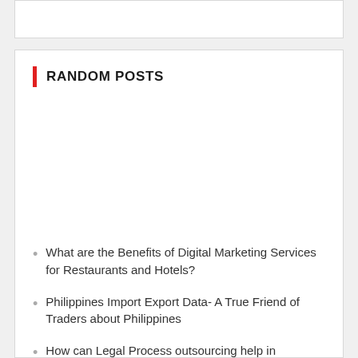RANDOM POSTS
What are the Benefits of Digital Marketing Services for Restaurants and Hotels?
Philippines Import Export Data- A True Friend of Traders about Philippines
How can Legal Process outsourcing help in offloading your caseloads?